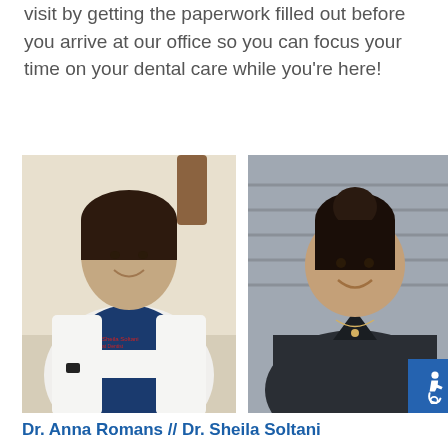visit by getting the paperwork filled out before you arrive at our office so you can focus your time on your dental care while you're here!
[Figure (photo): Photo of Dr. Anna Romans, a female dentist in a white lab coat over blue scrubs, arms crossed, smiling at the camera]
[Figure (photo): Photo of Dr. Sheila Soltani, a female dental professional in dark scrubs, smiling at the camera, with an accessibility icon badge in the bottom right corner]
Dr. Anna Romans // Dr. Sheila Soltani